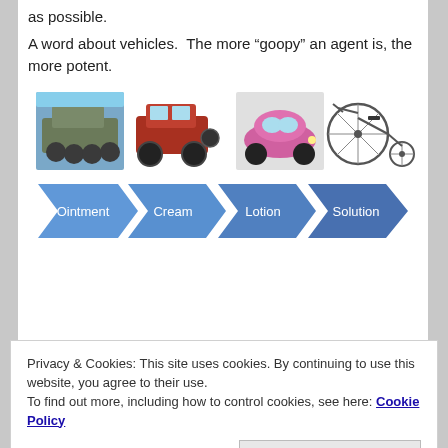as possible.
A word about vehicles.  The more "goopy" an agent is, the more potent.
[Figure (illustration): Four vehicle images in a row: military armored vehicle (tank/APC), red Jeep, pink Volkswagen Beetle, old-fashioned penny-farthing bicycle]
[Figure (infographic): Four blue chevron/arrow shapes in a row labeled left to right: Ointment, Cream, Lotion, Solution]
Privacy & Cookies: This site uses cookies. By continuing to use this website, you agree to their use.
To find out more, including how to control cookies, see here: Cookie Policy
Close and accept
hairline.